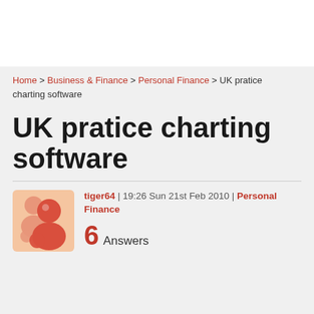Home > Business & Finance > Personal Finance > UK pratice charting software
UK pratice charting software
tiger64 | 19:26 Sun 21st Feb 2010 | Personal Finance
6 Answers